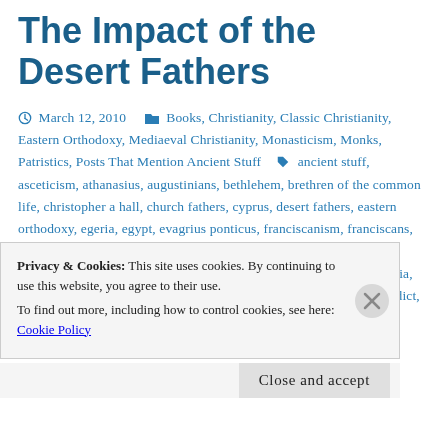The Impact of the Desert Fathers
March 12, 2010  Books, Christianity, Classic Christianity, Eastern Orthodoxy, Mediaeval Christianity, Monasticism, Monks, Patristics, Posts That Mention Ancient Stuff  ancient stuff, asceticism, athanasius, augustinians, bethlehem, brethren of the common life, christopher a hall, church fathers, cyprus, desert fathers, eastern orthodoxy, egeria, egypt, evagrius ponticus, franciscanism, franciscans, henri nouwen, historia monachorum in aegypto, john cassian, lausiac hisotry, life of st. antony, Monks, mt athos, nyssa, patristics, philokalia, richard foster, roman catholicism, rufinus of aquileia, rule of st benedict, saints, sayings of the desert fathers, st athanasius, st augustine, st augustine of
Privacy & Cookies: This site uses cookies. By continuing to use this website, you agree to their use. To find out more, including how to control cookies, see here: Cookie Policy
Close and accept